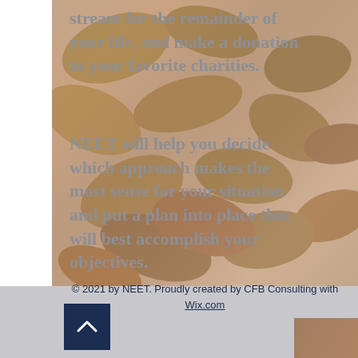stream for the remainder of your life, and make a donation to your favorite charities.
NEET will help you decide which approach makes the most sense for your situation and put a plan into place that will best accomplish your objectives.
© 2021 by NEET. Proudly created by CFB Consulting with Wix.com
[Figure (other): Dark navy blue square button with upward-pointing chevron/caret arrow icon, used as a scroll-to-top navigation button]